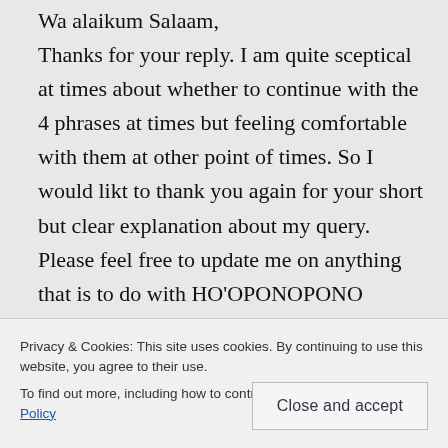Wa alaikum Salaam,
Thanks for your reply. I am quite sceptical at times about whether to continue with the 4 phrases at times but feeling comfortable with them at other point of times. So I would likt to thank you again for your short but clear explanation about my query. Please feel free to update me on anything that is to do with HO'OPONOPONO because I do
Privacy & Cookies: This site uses cookies. By continuing to use this website, you agree to their use.
To find out more, including how to control cookies, see here: Cookie Policy
Close and accept